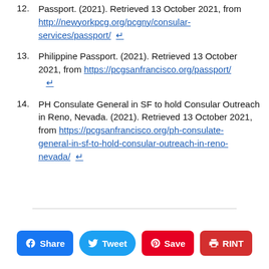12. Passport. (2021). Retrieved 13 October 2021, from http://newyorkpcg.org/pcgny/consular-services/passport/ ↵
13. Philippine Passport. (2021). Retrieved 13 October 2021, from https://pcgsanfrancisco.org/passport/ ↵
14. PH Consulate General in SF to hold Consular Outreach in Reno, Nevada. (2021). Retrieved 13 October 2021, from https://pcgsanfrancisco.org/ph-consulate-general-in-sf-to-hold-consular-outreach-in-reno-nevada/ ↵